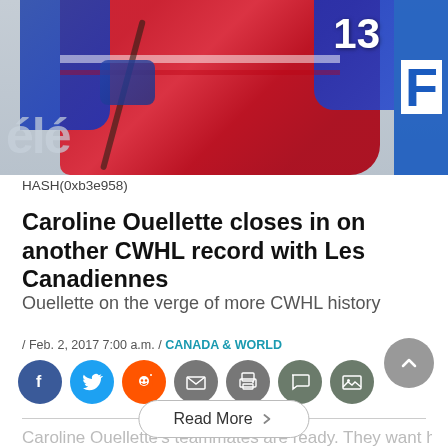[Figure (photo): Hockey player wearing red Montreal Canadiens jersey number 13 in action, with a blue panel on the right side and 'élé' text visible in background]
HASH(0xb3e958)
Caroline Ouellette closes in on another CWHL record with Les Canadiennes
Ouellette on the verge of more CWHL history
/ Feb. 2, 2017 7:00 a.m. / CANADA & WORLD
[Figure (infographic): Social sharing icons: Facebook, Twitter, Reddit, Email, Print, Comment, Gallery]
Caroline Ouellette's teammates are ready. They want h
Read More